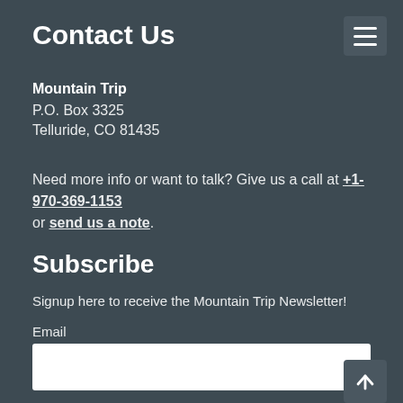Contact Us
[Figure (other): Hamburger menu button with three horizontal white lines on a dark background]
Mountain Trip
P.O. Box 3325
Telluride, CO 81435
Need more info or want to talk? Give us a call at +1-970-369-1153 or send us a note.
Subscribe
Signup here to receive the Mountain Trip Newsletter!
Email
Name
[Figure (other): Back to top button with an upward arrow icon on a dark background]